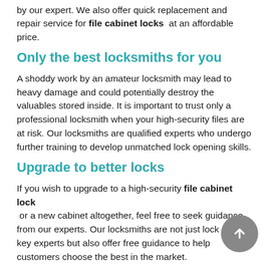by our expert. We also offer quick replacement and repair service for file cabinet locks at an affordable price.
Only the best locksmiths for you
A shoddy work by an amateur locksmith may lead to heavy damage and could potentially destroy the valuables stored inside. It is important to trust only a professional locksmith when your high-security files are at risk. Our locksmiths are qualified experts who undergo further training to develop unmatched lock opening skills.
Upgrade to better locks
If you wish to upgrade to a high-security file cabinet lock or a new cabinet altogether, feel free to seek guidance from our experts. Our locksmiths are not just lock and key experts but also offer free guidance to help customers choose the best in the market.
File cabinet locks not working properly? Get in touch with our expert immediately. We offer round-the-clock